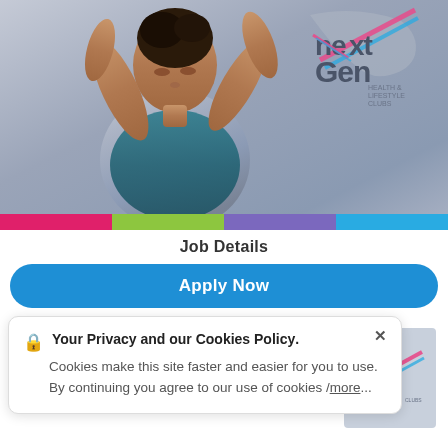[Figure (photo): Hero banner showing a woman in a teal sports bra in an athletic pose against a grey background, with the NextGen Health & Lifestyle Clubs logo in the top right. A color bar (pink, green, purple, blue) runs along the bottom of the image.]
Job Details
Apply Now
Your Privacy and our Cookies Policy. Cookies make this site faster and easier for you to use. By continuing you agree to our use of cookies / more...